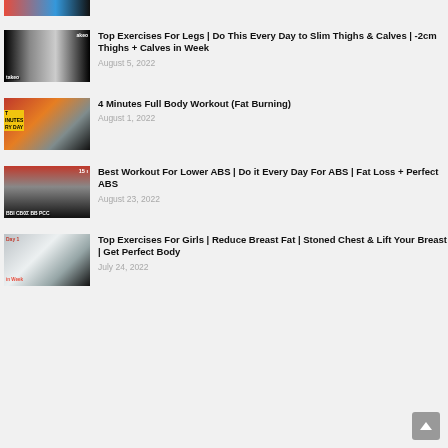[Figure (screenshot): Cropped top thumbnail showing legs exercise image]
Top Exercises For Legs | Do This Every Day to Slim Thighs & Calves | -2cm Thighs + Calves in Week
August 5, 2022
4 Minutes Full Body Workout (Fat Burning)
August 1, 2022
Best Workout For Lower ABS | Do it Every Day For ABS | Fat Loss + Perfect ABS
August 23, 2022
Top Exercises For Girls | Reduce Breast Fat | Stoned Chest & Lift Your Breast | Get Perfect Body
July 24, 2022